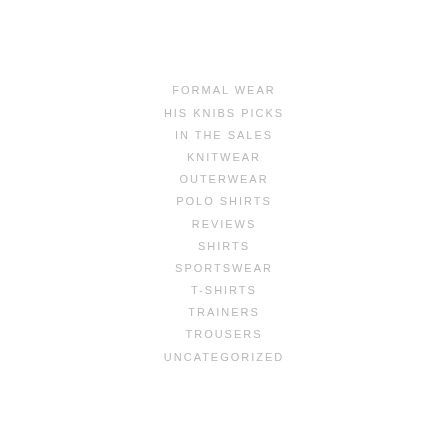FORMAL WEAR
HIS KNIBS PICKS
IN THE SALES
KNITWEAR
OUTERWEAR
POLO SHIRTS
REVIEWS
SHIRTS
SPORTSWEAR
T-SHIRTS
TRAINERS
TROUSERS
UNCATEGORIZED